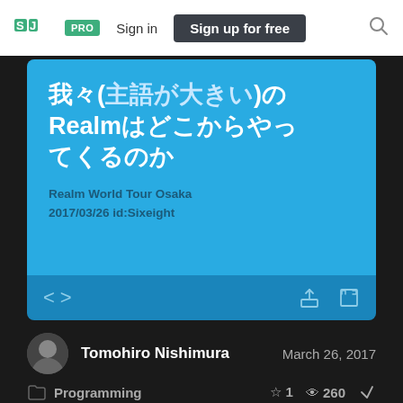[Figure (screenshot): SpeakerDeck website navigation bar with logo, PRO badge, Sign in link, Sign up for free button, and search icon]
[Figure (screenshot): Presentation slide with blue background showing Japanese title text '我々(主語が大きい)のRealmはどこからやってくるのか' and subtitle 'Realm World Tour Osaka 2017/03/26 id:Sixeight' with slide navigation controls]
Tomohiro Nishimura    March 26, 2017
Programming    1    260